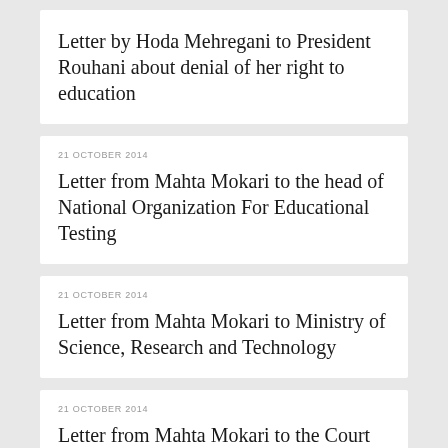Letter by Hoda Mehregani to President Rouhani about denial of her right to education
21 OCTOBER 2014
Letter from Mahta Mokari to the head of National Organization For Educational Testing
21 OCTOBER 2014
Letter from Mahta Mokari to Ministry of Science, Research and Technology
21 OCTOBER 2014
Letter from Mahta Mokari to the Court of Administrative Justice